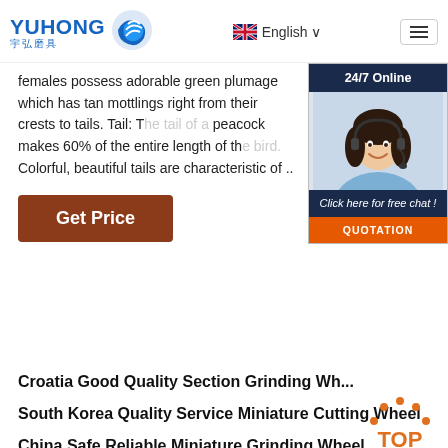[Figure (logo): Yuhong logo with blue wave icon and Chinese characters 宇弘磨具]
English ∨
[Figure (illustration): Hamburger menu button]
females possess adorable green plumage which has tan mottlings right from their crests to tails. Tail: The tail of a peacock makes 60% of the entire length of the bird. Colorful, beautiful tails are characteristic of ...
[Figure (infographic): 24/7 Online chat widget with customer service representative photo, Click here for free chat!, and QUOTATION button]
Get Price
Croatia Good Quality Section Grinding Wh...
South Korea Quality Service Miniature Cutting Wheel
China Safe Reliable Miniature Grinding Wheel
[Figure (illustration): TOP badge with orange dots and text]
Ukraine Elegant Style Section Coated Abrasives